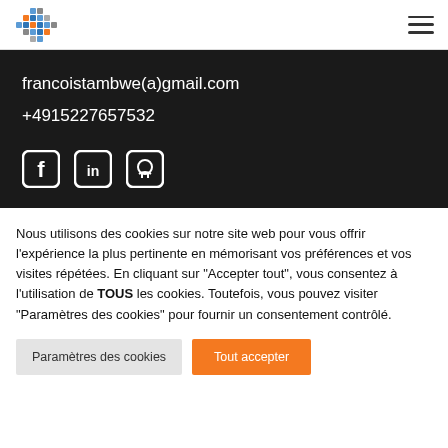[Figure (logo): Colorful cross/plus shaped logo made of small squares in blue, orange, gray tones]
francoistambwe(a)gmail.com
+4915227657532
[Figure (illustration): Three social media icons: Facebook, LinkedIn, GitHub]
Nous utilisons des cookies sur notre site web pour vous offrir l'expérience la plus pertinente en mémorisant vos préférences et vos visites répétées. En cliquant sur "Accepter tout", vous consentez à l'utilisation de TOUS les cookies. Toutefois, vous pouvez visiter "Paramètres des cookies" pour fournir un consentement contrôlé.
Paramètres des cookies
Tout accepter